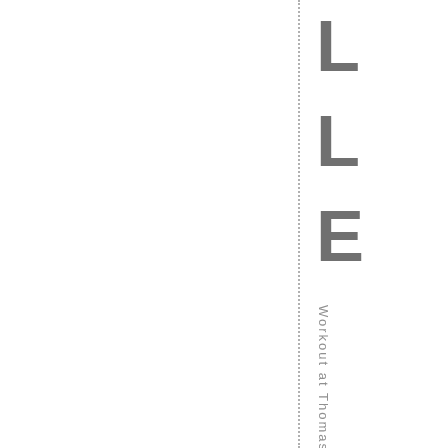LLE
Workout at Thomas - DrewPract